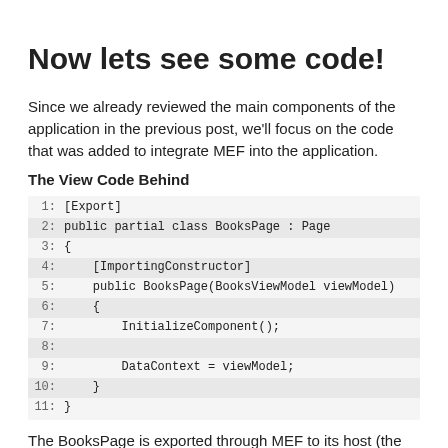Now lets see some code!
Since we already reviewed the main components of the application in the previous post, we'll focus on the code that was added to integrate MEF into the application.
The View Code Behind
[Figure (screenshot): Code block showing C# code: [Export] attribute, public partial class BooksPage : Page, with ImportingConstructor attribute, public BooksPage(BooksViewModel viewModel) constructor, InitializeComponent() call, DataContext = viewModel;]
The BooksPage is exported through MEF to its host (the main page), and injected with BooksViewModel on construction (notice the ImportingConstructor attribute).